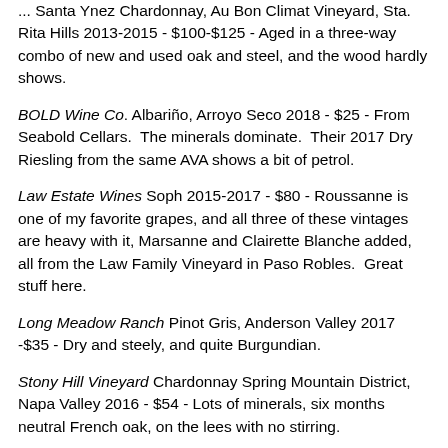... Santa Ynez Chardonnay, Au Bon Climat Vineyard, Sta. Rita Hills 2013-2015 - $100-$125 - Aged in a three-way combo of new and used oak and steel, and the wood hardly shows.
BOLD Wine Co. Albariño, Arroyo Seco 2018 - $25 - From Seabold Cellars. The minerals dominate. Their 2017 Dry Riesling from the same AVA shows a bit of petrol.
Law Estate Wines Soph 2015-2017 - $80 - Roussanne is one of my favorite grapes, and all three of these vintages are heavy with it, Marsanne and Clairette Blanche added, all from the Law Family Vineyard in Paso Robles. Great stuff here.
Long Meadow Ranch Pinot Gris, Anderson Valley 2017 -$35 - Dry and steely, and quite Burgundian.
Stony Hill Vineyard Chardonnay Spring Mountain District, Napa Valley 2016 - $54 - Lots of minerals, six months neutral French oak, on the lees with no stirring.
Domaines Schlumberger Pinot Gris 2017 - $19 - Salinity...